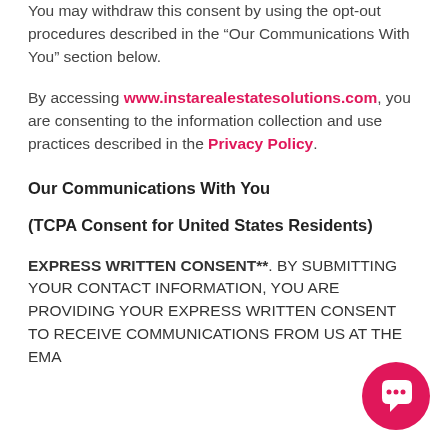You may withdraw this consent by using the opt-out procedures described in the “Our Communications With You” section below.
By accessing www.instarealestatesolutions.com, you are consenting to the information collection and use practices described in the Privacy Policy.
Our Communications With You
(TCPA Consent for United States Residents)
EXPRESS WRITTEN CONSENT**. BY SUBMITTING YOUR CONTACT INFORMATION, YOU ARE PROVIDING YOUR EXPRESS WRITTEN CONSENT TO RECEIVE COMMUNICATIONS FROM US AT THE EMA…